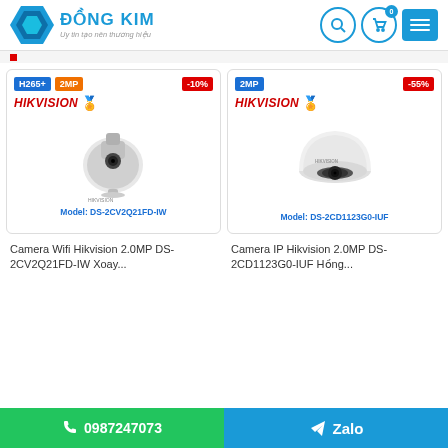ĐỒNG KIM - Uy tin tạo nên thương hiệu
[Figure (screenshot): Product card: Camera Wifi Hikvision 2.0MP DS-2CV2Q21FD-IW with H265+ and 2MP badges, -10% discount, Hikvision logo, PTZ camera image, model label DS-2CV2Q21FD-IW]
[Figure (screenshot): Product card: Camera IP Hikvision 2.0MP DS-2CD1123G0-IUF with 2MP badge, -55% discount, Hikvision logo, dome camera image, model label DS-2CD1123G0-IUF]
Camera Wifi Hikvision 2.0MP DS-2CV2Q21FD-IW Xoay...
Camera IP Hikvision 2.0MP DS-2CD1123G0-IUF Hồng...
0987247073   Zalo